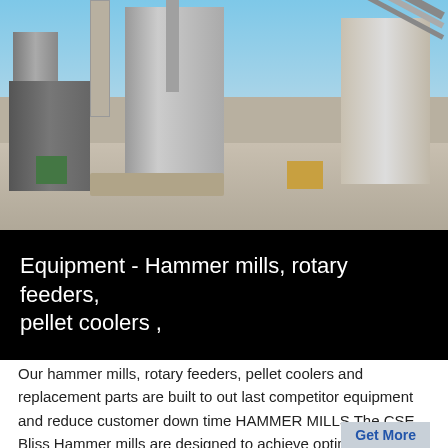[Figure (photo): Industrial cement plant or mill facility with large structures, silos, chimneys, and conveyor belts against a blue sky. Construction materials and equipment visible on the ground.]
Equipment - Hammer mills, rotary feeders, pellet coolers ,
Our hammer mills, rotary feeders, pellet coolers and replacement parts are built to out last competitor equipment and reduce customer down time HAMMER MILLS The CSE Bliss Hammer mills are designed to achieve optimum performance that lasts in even for the most demanding applications Our hammer mills are manufactured using over 40 years of ,